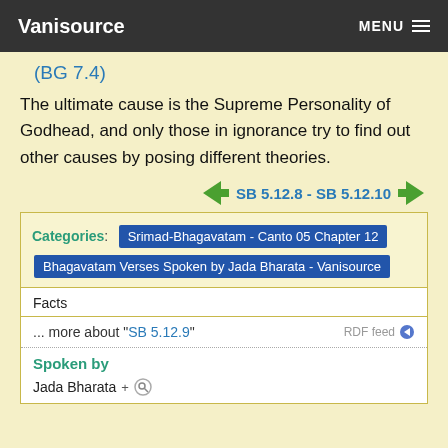Vanisource  MENU
(BG 7.4)
The ultimate cause is the Supreme Personality of Godhead, and only those in ignorance try to find out other causes by posing different theories.
SB 5.12.8 - SB 5.12.10
Categories: Srimad-Bhagavatam - Canto 05 Chapter 12  Bhagavatam Verses Spoken by Jada Bharata - Vanisource
Facts
... more about "SB 5.12.9"  RDF feed
Spoken by
Jada Bharata+